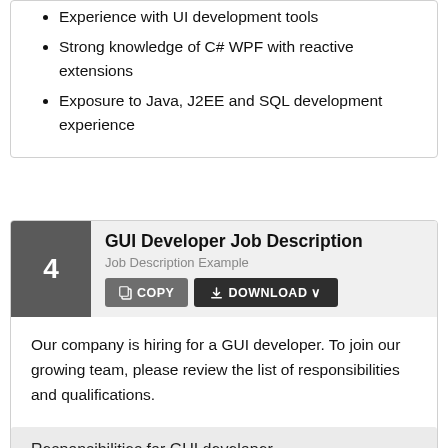Experience with UI development tools
Strong knowledge of C# WPF with reactive extensions
Exposure to Java, J2EE and SQL development experience
GUI Developer Job Description
Job Description Example
Our company is hiring for a GUI developer. To join our growing team, please review the list of responsibilities and qualifications.
Responsibilities for GUI developer